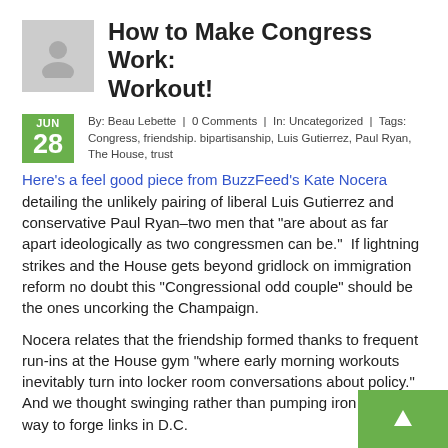How to Make Congress Work: Workout!
By: Beau Lebette | 0 Comments | In: Uncategorized | Tags: Congress, friendship. bipartisanship, Luis Gutierrez, Paul Ryan, The House, trust
Here's a feel good piece from BuzzFeed's Kate Nocera detailing the unlikely pairing of liberal Luis Gutierrez and conservative Paul Ryan–two men that "are about as far apart ideologically as two congressmen can be." If lightning strikes and the House gets beyond gridlock on immigration reform no doubt this "Congressional odd couple" should be the ones uncorking the Champaign.
Nocera relates that the friendship formed thanks to frequent run-ins at the House gym "where early morning workouts inevitably turn into locker room conversations about policy." And we thought swinging rather than pumping iron was the way to forge links in D.C.